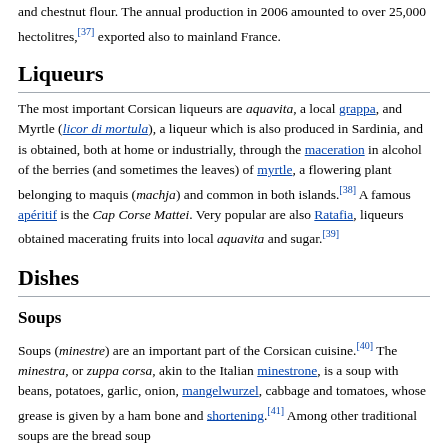and chestnut flour. The annual production in 2006 amounted to over 25,000 hectolitres,[37] exported also to mainland France.
Liqueurs
The most important Corsican liqueurs are aquavita, a local grappa, and Myrtle (licor di mortula), a liqueur which is also produced in Sardinia, and is obtained, both at home or industrially, through the maceration in alcohol of the berries (and sometimes the leaves) of myrtle, a flowering plant belonging to maquis (machja) and common in both islands.[38] A famous apéritif is the Cap Corse Mattei. Very popular are also Ratafia, liqueurs obtained macerating fruits into local aquavita and sugar.[39]
Dishes
Soups
Soups (minestre) are an important part of the Corsican cuisine.[40] The minestra, or zuppa corsa, akin to the Italian minestrone, is a soup with beans, potatoes, garlic, onion, mangelwurzel, cabbage and tomatoes, whose grease is given by a ham bone and shortening.[41] Among other traditional soups are the bread soup